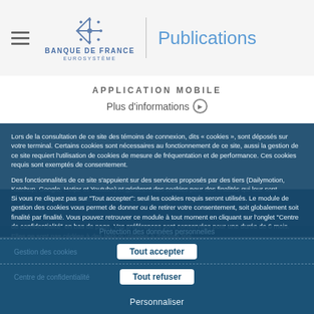Banque de France EUROSYSTÈME | Publications
APPLICATION MOBILE
Plus d'informations
Lors de la consultation de ce site des témoins de connexion, dits « cookies », sont déposés sur votre terminal. Certains cookies sont nécessaires au fonctionnement de ce site, aussi la gestion de ce site requiert l'utilisation de cookies de mesure de fréquentation et de performance. Ces cookies requis sont exemptés de consentement.
Des fonctionnalités de ce site s'appuient sur des services proposés par des tiers (Dailymotion, Katchup, Google, Hotjar et Youtube) et génèrent des cookies pour des finalités qui leur sont propres, conformément à leur politique de confidentialité.
Si vous ne cliquez pas sur "Tout accepter": seul les cookies requis seront utilisés. Le module de gestion des cookies vous permet de donner ou de retirer votre consentement, soit globalement soit finalité par finalité. Vous pouvez retrouver ce module à tout moment en cliquant sur l'onglet "Centre de confidentialité" en bas de page. Vos préférences sont conservées pour une durée de 6 mois. Elles ne sont pas cédées à des tiers ni utilisées à d'autres fins.
Tout accepter
Tout refuser
Personnaliser